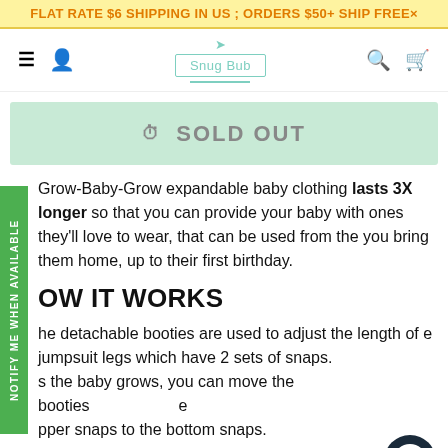FLAT RATE $6 SHIPPING IN US ; ORDERS $50+ SHIP FREE×
[Figure (screenshot): Website navigation bar with hamburger menu, user icon, Snug Bub logo, search icon, and cart icon]
[Figure (other): Sold out button with clock icon, mint green background]
[Figure (other): Green vertical sidebar button with text NOTIFY ME WHEN AVAILABLE]
Grow-Baby-Grow expandable baby clothing lasts 3X longer so that you can provide your baby with ones they'll love to wear, that can be used from the you bring them home, up to their first birthday.
OW IT WORKS
he detachable booties are used to adjust the length of e jumpsuit legs which have 2 sets of snaps.
s the baby grows, you can move the booties e
pper snaps to the bottom snaps.
Comes with  adorable Fox patch patch.